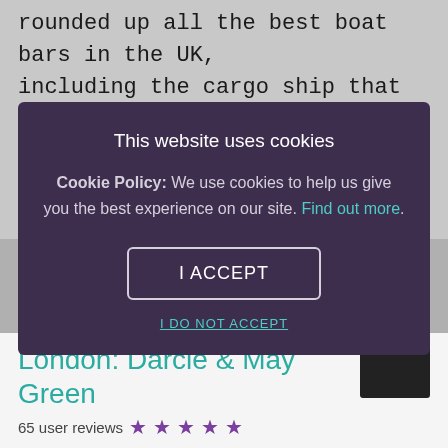rounded up all the best boat bars in the UK, including the cargo ship that became an iconic club and the floating restaurants offering some of the country's most exciting eats.
This website uses cookies
Cookie Policy: We use cookies to help us give you the best experience on our site. Find out more.
I ACCEPT
I DO NOT ACCEPT
London: Darcie & May Green
65 user reviews ★★★★★